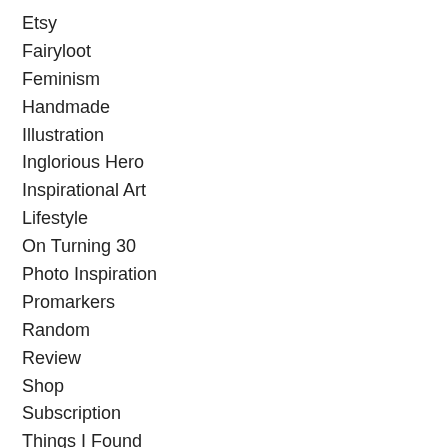Etsy
Fairyloot
Feminism
Handmade
Illustration
Inglorious Hero
Inspirational Art
Lifestyle
On Turning 30
Photo Inspiration
Promarkers
Random
Review
Shop
Subscription
Things I Found
Video
Watercolour
Wisdom Of Life
YouTube